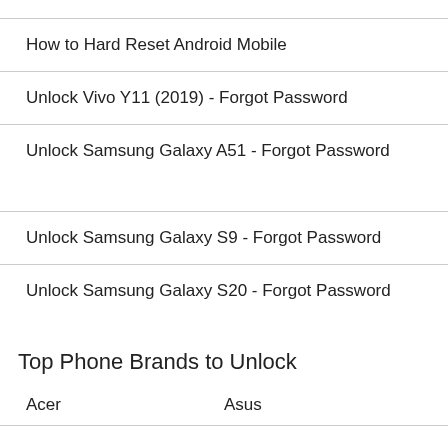How to Hard Reset Android Mobile
Unlock Vivo Y11 (2019) - Forgot Password
Unlock Samsung Galaxy A51 - Forgot Password
Unlock Samsung Galaxy S9 - Forgot Password
Unlock Samsung Galaxy S20 - Forgot Password
Top Phone Brands to Unlock
Acer
Asus